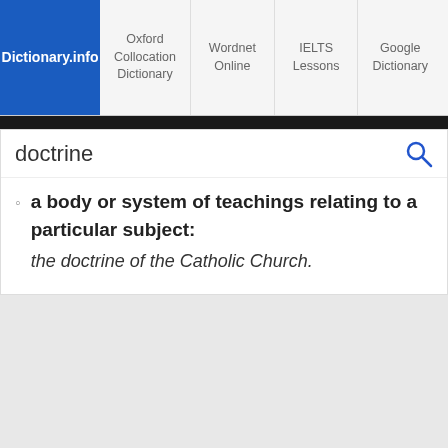Dictionary.info | Oxford Collocation Dictionary | Wordnet Online | IELTS Lessons | Google Dictionary
doctrine
a body or system of teachings relating to a particular subject: the doctrine of the Catholic Church.